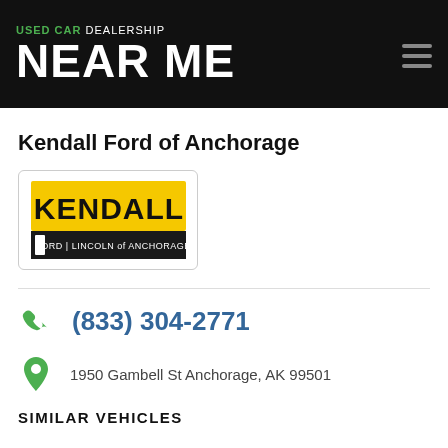USED CAR DEALERSHIP NEAR ME
Kendall Ford of Anchorage
[Figure (logo): Kendall Ford Lincoln of Anchorage logo — yellow KENDALL text on black background with Ford | Lincoln of Anchorage subtitle]
(833) 304-2771
1950 Gambell St Anchorage, AK 99501
SIMILAR VEHICLES